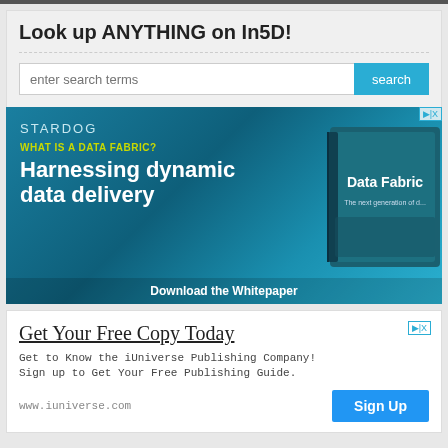Look up ANYTHING on In5D!
[Figure (screenshot): Stardog advertisement banner: 'WHAT IS A DATA FABRIC? Harnessing dynamic data delivery — Download the Whitepaper'. Blue gradient background with a book mockup labeled 'Data Fabric'.]
[Figure (screenshot): iUniverse ad: 'Get Your Free Copy Today. Get to Know the iUniverse Publishing Company! Sign up to Get Your Free Publishing Guide. www.iuniverse.com' with a blue Sign Up button.]